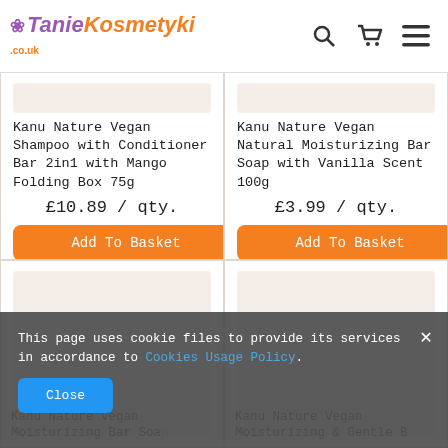TanieKosmetyki.co.uk
Kanu Nature Vegan Shampoo with Conditioner Bar 2in1 with Mango Folding Box 75g
£10.89 / qty.
Add To Basket
Kanu Nature Vegan Natural Moisturizing Bar Soap with Vanilla Scent 100g
£3.99 / qty.
Add To Basket
Kanu Nature Vegan Moisturizing Bar Soap...
Kanu Nature Vegan Moisturizing & Gentle B...
This page uses cookie files to provide its services in accordance to Cookies Usage Policy.
Close